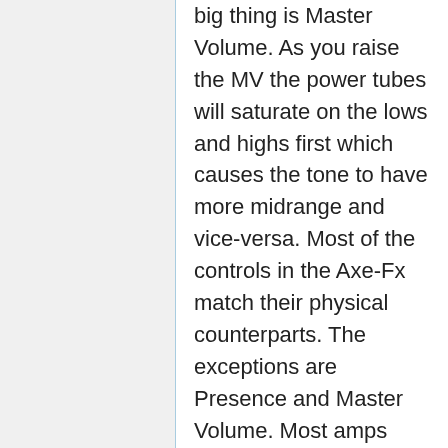big thing is Master Volume. As you raise the MV the power tubes will saturate on the lows and highs first which causes the tone to have more midrange and vice-versa. Most of the controls in the Axe-Fx match their physical counterparts. The exceptions are Presence and Master Volume. Most amps simply have the wrong taper for their Presence controls. For example a 5150 Presence control does absolutely nothing from 0 to 7. All the action happens in the upper 1/4 of the control's range which is just dumb. The